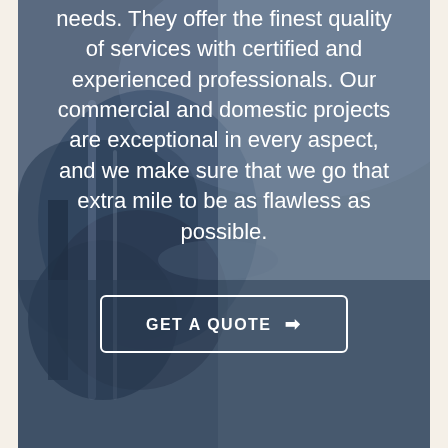[Figure (photo): Background photo of plumbing pipes/fittings with a blue-grey color overlay. Metal pipes and fittings visible, dark blue toned.]
needs. They offer the finest quality of services with certified and experienced professionals. Our commercial and domestic projects are exceptional in every aspect, and we make sure that we go that extra mile to be as flawless as possible.
GET A QUOTE →